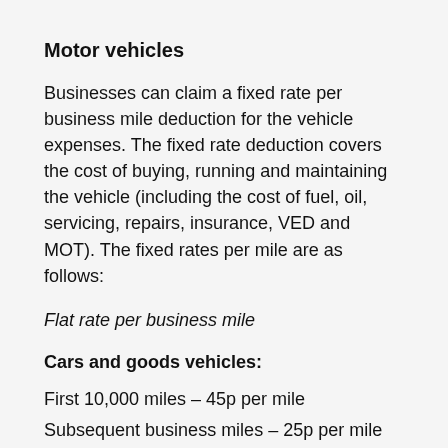Motor vehicles
Businesses can claim a fixed rate per business mile deduction for the vehicle expenses. The fixed rate deduction covers the cost of buying, running and maintaining the vehicle (including the cost of fuel, oil, servicing, repairs, insurance, VED and MOT). The fixed rates per mile are as follows:
Flat rate per business mile
Cars and goods vehicles:
First 10,000 miles – 45p per mile
Subsequent business miles – 25p per mile